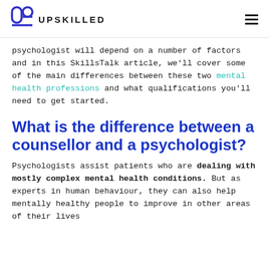UPSKILLED
psychologist will depend on a number of factors and in this SkillsTalk article, we'll cover some of the main differences between these two mental health professions and what qualifications you'll need to get started.
What is the difference between a counsellor and a psychologist?
Psychologists assist patients who are dealing with mostly complex mental health conditions. But as experts in human behaviour, they can also help mentally healthy people to improve in other areas of their lives